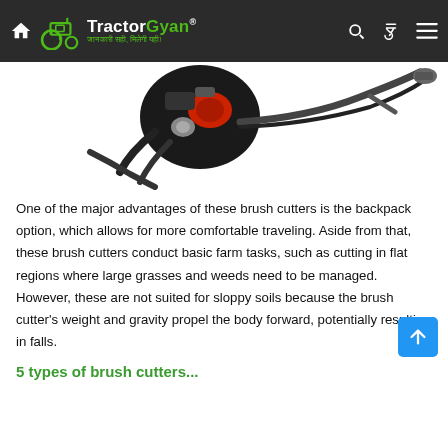TractorGyan — navigation bar with home, tractor logo, brand name, search, rupee, and menu icons
[Figure (photo): A backpack-style brush cutter shown from above, with black engine, red parts, and a long curved metal shaft/handle, on a white background.]
One of the major advantages of these brush cutters is the backpack option, which allows for more comfortable traveling. Aside from that, these brush cutters conduct basic farm tasks, such as cutting in flat regions where large grasses and weeds need to be managed. However, these are not suited for sloppy soils because the brush cutter's weight and gravity propel the body forward, potentially resulting in falls.
5 types of brush cutters...